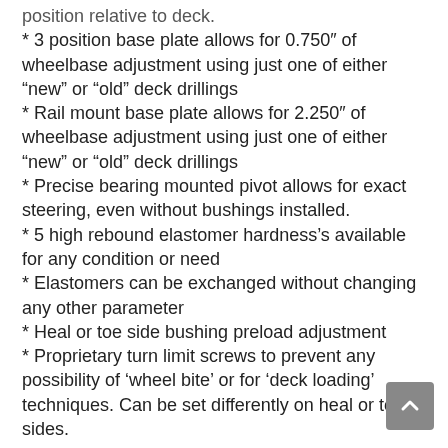position relative to deck.
* 3 position base plate allows for 0.750″ of wheelbase adjustment using just one of either “new” or “old” deck drillings
* Rail mount base plate allows for 2.250″ of wheelbase adjustment using just one of either “new” or “old” deck drillings
* Precise bearing mounted pivot allows for exact steering, even without bushings installed.
* 5 high rebound elastomer hardness’s available for any condition or need
* Elastomers can be exchanged without changing any other parameter
* Heal or toe side bushing preload adjustment
* Proprietary turn limit screws to prevent any possibility of ‘wheel bite’ or for ‘deck loading’ techniques. Can be set differently on heal or toe sides.